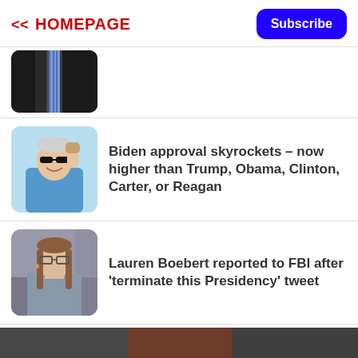<< HOMEPAGE
Subscribe
[Figure (photo): Partial image of a person in a suit with a striped tie, cropped at top]
[Figure (photo): Photo of Joe Biden in sunglasses raising fist, wearing blue shirt, on light blue background]
Biden approval skyrockets – now higher than Trump, Obama, Clinton, Carter, or Reagan
[Figure (photo): Photo of Lauren Boebert, a woman with glasses and long hair]
Lauren Boebert reported to FBI after 'terminate this Presidency' tweet
[Figure (photo): Dark blurred image strip at bottom of page]